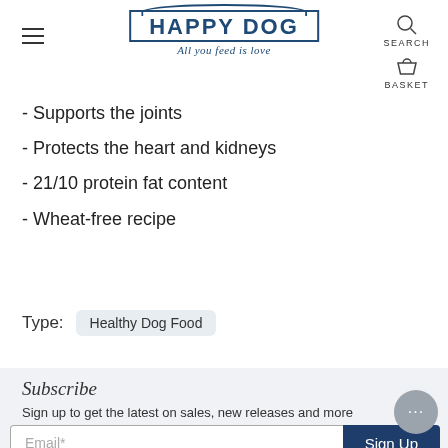[Figure (logo): Happy Dog logo with tagline 'All you feed is love', hamburger menu icon, search icon and basket icon in the header]
- Supports the joints
- Protects the heart and kidneys
- 21/10 protein fat content
- Wheat-free recipe
Type: Healthy Dog Food
Subscribe
Sign up to get the latest on sales, new releases and more
Email* Sign Up